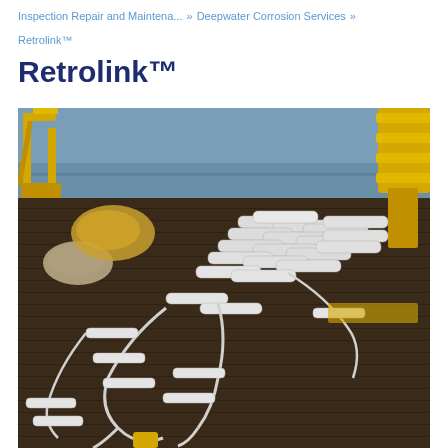Inspection Repair and Maintena... » Deepwater Corrosion Services »
Retrolink™
Retrolink™
[Figure (photo): Photograph of Retrolink™ cathodic protection anode assemblies laid out on an offshore vessel deck. Multiple white/grey cylindrical anodes connected by cables are arranged on a wooden deck, with yellow offshore equipment and crane components visible in the background, and the ocean visible beyond.]